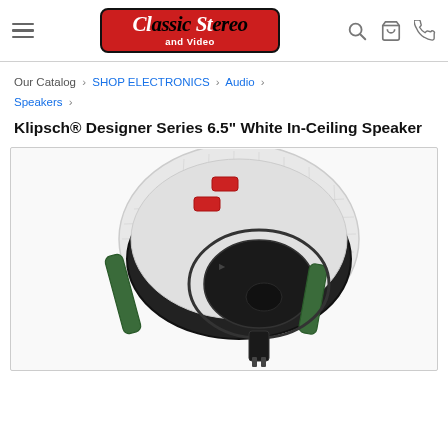Classic Stereo and Video — navigation header with logo, search, cart, and phone icons
Our Catalog › SHOP ELECTRONICS › Audio › Speakers ›
Klipsch® Designer Series 6.5" White In-Ceiling Speaker
[Figure (photo): Product photo of a Klipsch 6.5 inch white in-ceiling speaker, shown at an angle with white mesh grille, black circular frame, green mounting bracket arms, and red connector tabs visible.]